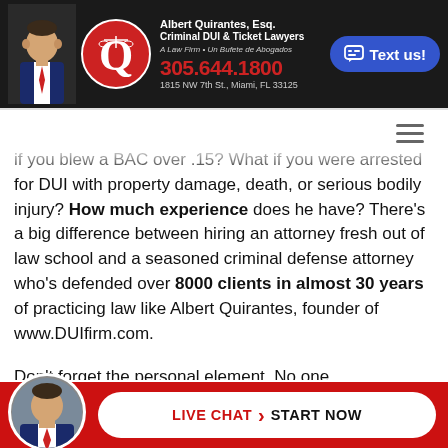[Figure (screenshot): Law firm header banner with photo of attorney in suit, Q logo with scales of justice, firm name 'Albert Quirantes, Esq. Criminal DUI & Ticket Lawyers', phone number 305.644.1800, address 1815 NW 7th St. Miami FL 33125, and blue 'Text us!' button]
if you blew a BAC over .15? What if you were arrested for DUI with property damage, death, or serious bodily injury? How much experience does he have? There's a big difference between hiring an attorney fresh out of law school and a seasoned criminal defense attorney who's defended over 8000 clients in almost 30 years of practicing law like Albert Quirantes, founder of www.DUIfirm.com.

Don't forget the personal element. No one deserves to be treated like just a number...
[Figure (screenshot): Bottom live chat bar with red background, attorney avatar photo, and white pill-shaped button reading 'LIVE CHAT > START NOW']